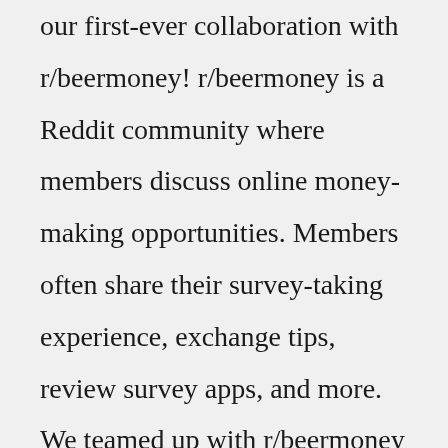our first-ever collaboration with r/beermoney! r/beermoney is a Reddit community where members discuss online money-making opportunities. Members often share their survey-taking experience, exchange tips, review survey apps, and more. We teamed up with r/beermoney to give away $100 Amazon gift cards to 10 lucky members!Survey Junkie: Get paid $1-$3 per survey and cash out with as little as $5. Pinecone Research: Surveys pay